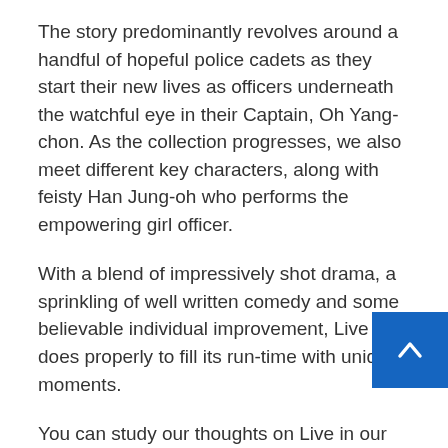The story predominantly revolves around a handful of hopeful police cadets as they start their new lives as officers underneath the watchful eye in their Captain, Oh Yang-chon. As the collection progresses, we also meet different key characters, along with feisty Han Jung-oh who performs the empowering girl officer.
With a blend of impressively shot drama, a sprinkling of well written comedy and some believable individual improvement, Live does properly to fill its run-time with unique moments.
You can study our thoughts on Live in our full season evaluation here!44 – The Devil JudgeNetwork – tvNRating – 7.960%Final Episode Air Date – twenty second August 2021
The Devil Judge is an interesting social and political exam